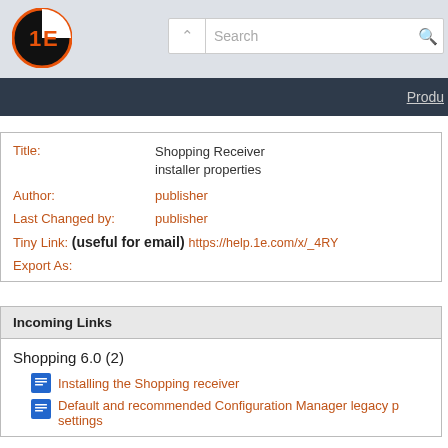[Figure (logo): 1E company logo: black and orange circle with '1E' text]
Search | Produ
| Field | Value |
| --- | --- |
| Title: | Shopping Receiver installer properties |
| Author: | publisher |
| Last Changed by: | publisher |
| Tiny Link: (useful for email) | https://help.1e.com/x/_4RY |
| Export As: |  |
Incoming Links
Shopping 6.0 (2)
Installing the Shopping receiver
Default and recommended Configuration Manager legacy p settings